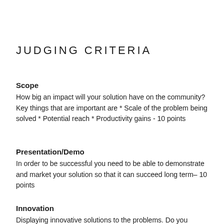JUDGING CRITERIA
Scope
How big an impact will your solution have on the community? Key things that are important are * Scale of the problem being solved * Potential reach * Productivity gains - 10 points
Presentation/Demo
In order to be successful you need to be able to demonstrate and market your solution so that it can succeed long term– 10 points
Innovation
Displaying innovative solutions to the problems. Do you